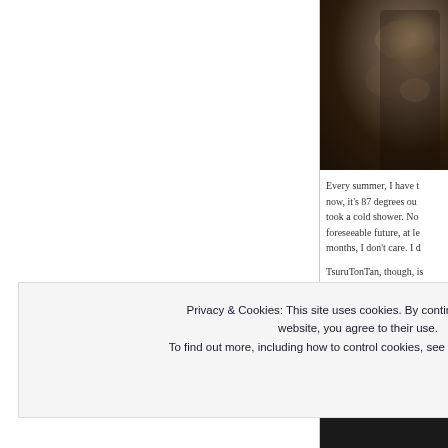[Figure (photo): Food photo showing a dark bowl with Japanese cuisine, visible ingredients with warm highlights against dark background]
Every summer, I have t... now, it's 87 degrees ou... took a cold shower. No... foreseeable future, at le... months, I don't care. I d...
TsuruTonTan, though, is... sp...
Privacy & Cookies: This site uses cookies. By continuing to use this website, you agree to their use.
To find out more, including how to control cookies, see here: Cookie Policy
Close and accept